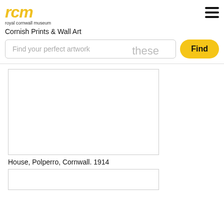rcm royal cornwall museum
Cornish Prints & Wall Art
Find your perfect artwork
these
Find
[Figure (other): White blank artwork image placeholder for House, Polperro, Cornwall. 1914]
House, Polperro, Cornwall. 1914
[Figure (other): White blank artwork image placeholder (second artwork, partially visible)]